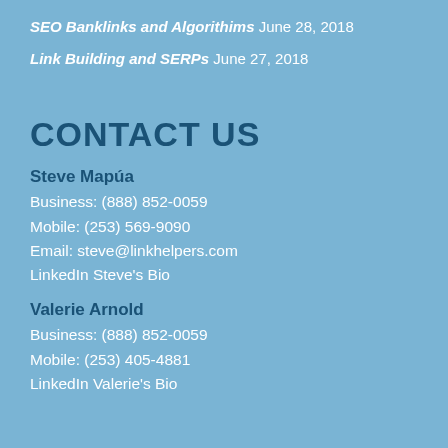SEO Banklinks and Algorithims June 28, 2018
Link Building and SERPs June 27, 2018
CONTACT US
Steve Mapúa
Business: (888) 852-0059
Mobile: (253) 569-9090
Email: steve@linkhelpers.com
LinkedIn Steve's Bio
Valerie Arnold
Business: (888) 852-0059
Mobile: (253) 405-4881
LinkedIn Valerie's Bio